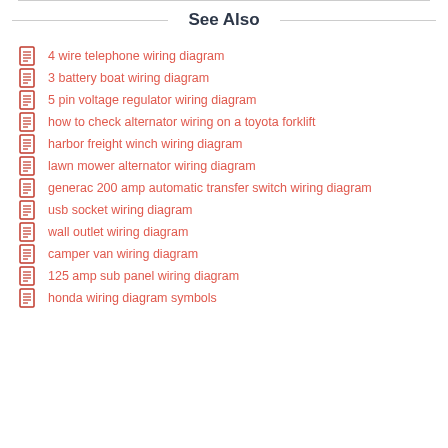See Also
4 wire telephone wiring diagram
3 battery boat wiring diagram
5 pin voltage regulator wiring diagram
how to check alternator wiring on a toyota forklift
harbor freight winch wiring diagram
lawn mower alternator wiring diagram
generac 200 amp automatic transfer switch wiring diagram
usb socket wiring diagram
wall outlet wiring diagram
camper van wiring diagram
125 amp sub panel wiring diagram
honda wiring diagram symbols